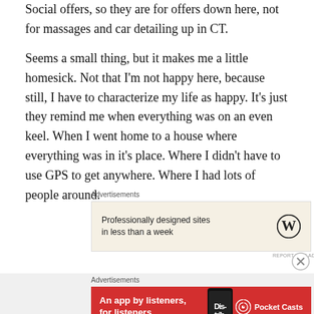Social offers, so they are for offers down here, not for massages and car detailing up in CT.
Seems a small thing, but it makes me a little homesick. Not that I'm not happy here, because still, I have to characterize my life as happy. It's just they remind me when everything was on an even keel. When I went home to a house where everything was in it's place. Where I didn't have to use GPS to get anywhere. Where I had lots of people around.
[Figure (other): WordPress advertisement: 'Professionally designed sites in less than a week' with WordPress logo on beige background]
[Figure (other): Pocket Casts advertisement: 'An app by listeners, for listeners.' on red background with phone graphic and Pocket Casts logo]